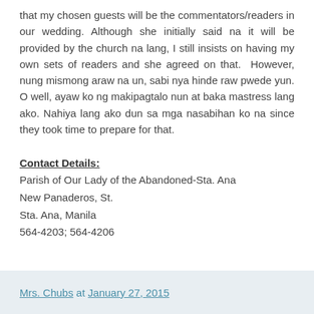that my chosen guests will be the commentators/readers in our wedding. Although she initially said na it will be provided by the church na lang, I still insists on having my own sets of readers and she agreed on that. However, nung mismong araw na un, sabi nya hinde raw pwede yun. O well, ayaw ko ng makipagtalo nun at baka mastress lang ako. Nahiya lang ako dun sa mga nasabihan ko na since they took time to prepare for that.
Contact Details:
Parish of Our Lady of the Abandoned-Sta. Ana
New Panaderos, St.
Sta. Ana, Manila
564-4203; 564-4206
Mrs. Chubs at January 27, 2015